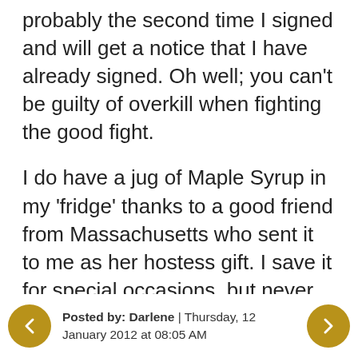probably the second time I signed and will get a notice that I have already signed. Oh well; you can't be guilty of overkill when fighting the good fight.
I do have a jug of Maple Syrup in my 'fridge' thanks to a good friend from Massachusetts who sent it to me as her hostess gift. I save it for special occasions, but never thought to use it in a marinade. I must try that some day.
Posted by: Darlene | Thursday, 12 January 2012 at 08:05 AM